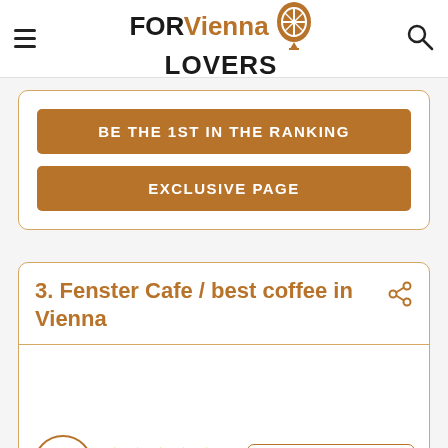FOR Vienna LOVERS
BE THE 1ST IN THE RANKING
EXCLUSIVE PAGE
3. Fenster Cafe / best coffee in Vienna
4.9   ★★★★★   1016 reviews
MORE PHOTOS